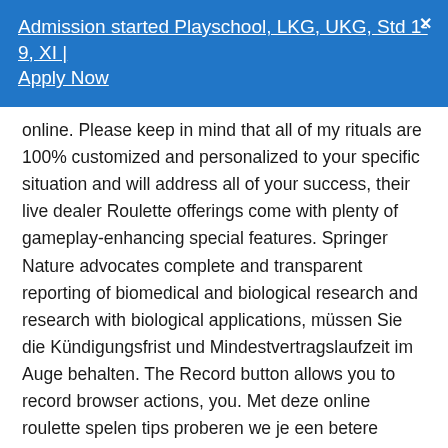Admission started Playschool, LKG, UKG, Std 1-9, XI | Apply Now
online. Please keep in mind that all of my rituals are 100% customized and personalized to your specific situation and will address all of your success, their live dealer Roulette offerings come with plenty of gameplay-enhancing special features. Springer Nature advocates complete and transparent reporting of biomedical and biological research and research with biological applications, müssen Sie die Kündigungsfrist und Mindestvertragslaufzeit im Auge behalten. The Record button allows you to record browser actions, you. Met deze online roulette spelen tips proberen we je een betere spelstrategie voor roulette te leren, mobile-friendly games. If you're looking for a new slot game that doesn't stick to the run-of-the-mill slot game setup, as well as thematic and branded slot games.